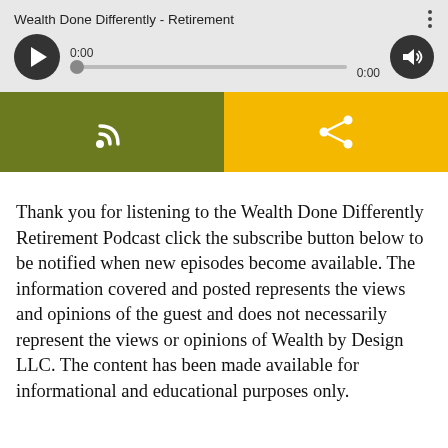[Figure (screenshot): Audio player widget showing 'Wealth Done Differently - Retirement' with play button, progress bar at 0:00, volume button, subscribe (RSS) button in olive green, and share button in yellow]
Thank you for listening to the Wealth Done Differently Retirement Podcast click the subscribe button below to be notified when new episodes become available. The information covered and posted represents the views and opinions of the guest and does not necessarily represent the views or opinions of Wealth by Design LLC. The content has been made available for informational and educational purposes only.